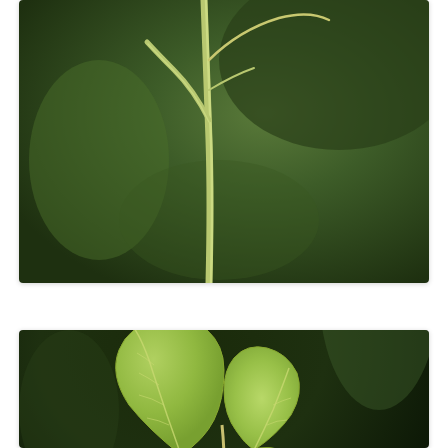[Figure (photo): Close-up photograph of a plant stem with a tendril or thin branch structure against a blurred green background. The stem is light green and the tendril curves upward to the right.]
[Figure (photo): Close-up photograph of a trifoliate plant leaf (three leaflets) on a stem, against a dark blurred green background. The leaves are bright light green with visible veining. Likely a legume plant such as soybean.]